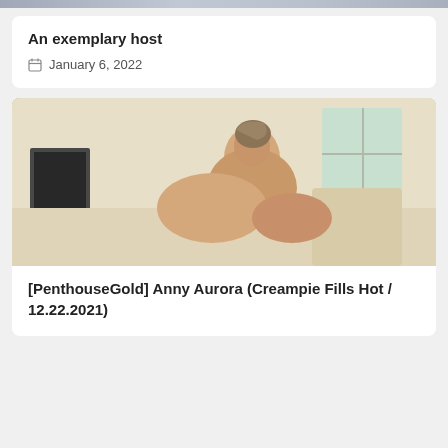An exemplary host
January 6, 2022
[Figure (photo): Adult content photo showing two people in an intimate scene on a couch in a bright room]
[PenthouseGold] Anny Aurora (Creampie Fills Hot / 12.22.2021)